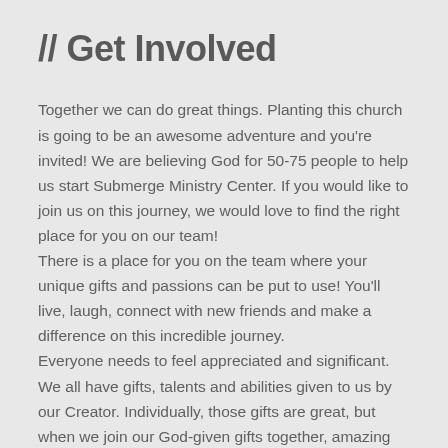// Get Involved
Together we can do great things. Planting this church is going to be an awesome adventure and you're invited! We are believing God for 50-75 people to help us start Submerge Ministry Center. If you would like to join us on this journey, we would love to find the right place for you on our team!
There is a place for you on the team where your unique gifts and passions can be put to use! You'll live, laugh, connect with new friends and make a difference on this incredible journey.
Everyone needs to feel appreciated and significant. We all have gifts, talents and abilities given to us by our Creator. Individually, those gifts are great, but when we join our God-given gifts together, amazing things can happen!!
Submerge Ministry Center needs your support. The success of any organization is not dependent on the efforts of any one individual; rather the success of that organization is dependent